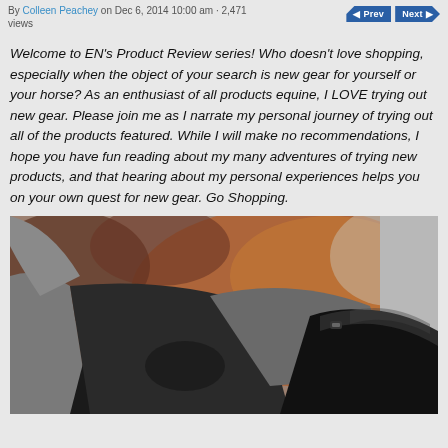By Colleen Peachey on Dec 6, 2014 10:00 am · 2,471 views
Welcome to EN's Product Review series! Who doesn't love shopping, especially when the object of your search is new gear for yourself or your horse? As an enthusiast of all products equine, I LOVE trying out new gear. Please join me as I narrate my personal journey of trying out all of the products featured. While I will make no recommendations, I hope you have fun reading about my many adventures of trying new products, and that hearing about my personal experiences helps you on your own quest for new gear. Go Shopping.
[Figure (photo): Person wearing grey riding tights/breeches and tall black riding boots, photographed from waist down against a background of red dirt and autumn foliage.]